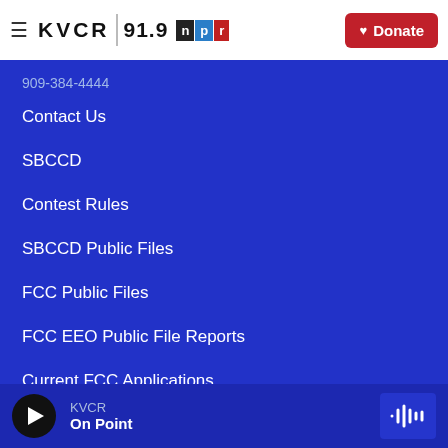KVCR 91.9 NPR | Donate
909-384-4444
Contact Us
SBCCD
Contest Rules
SBCCD Public Files
FCC Public Files
FCC EEO Public File Reports
Current FCC Applications
KVCR TV
KVCR — On Point